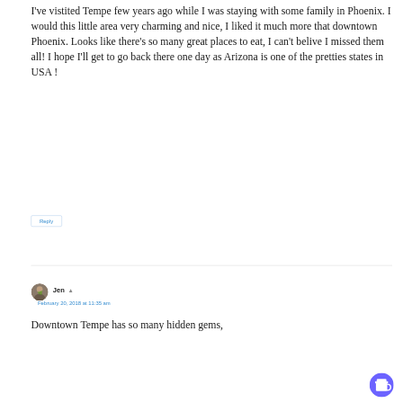I've vistited Tempe few years ago while I was staying with some family in Phoenix. I would this little area very charming and nice, I liked it much more that downtown Phoenix. Looks like there's so many great places to eat, I can't belive I missed them all! I hope I'll get to go back there one day as Arizona is one of the pretties states in USA !
Reply
Jen ▲
February 20, 2018 at 11:35 am
Downtown Tempe has so many hidden gems,